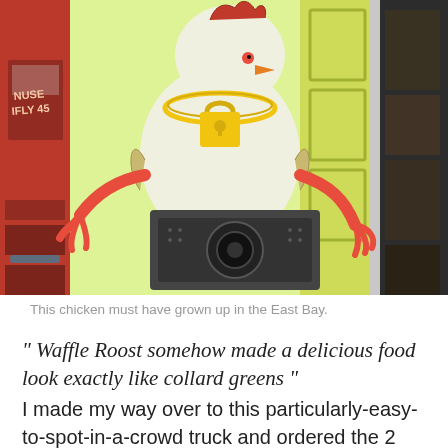[Figure (photo): Composite photo showing a cartoon chicken mascot wearing a gold chain with a padlock, posing next to a speaker/subwoofer. Left side shows the side of a red food truck, right side shows a glimpse of another image.]
This chicken must have grown up in the East Bay.
" Waffle Roost somehow made a delicious food look exactly like collard greens "
I made my way over to this particularly-easy-to-spot-in-a-crowd truck and ordered the 2 Legit, which includes four unique and delicious foods: fried chicken, a waffle, mac and cheese, and collard greens. The boneless white meat fried chicken was darn near perfect and had a wonderful,